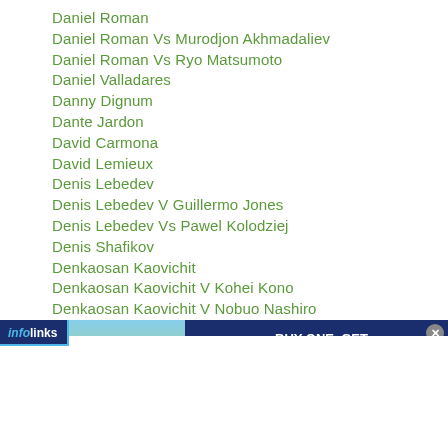Daniel Roman
Daniel Roman Vs Murodjon Akhmadaliev
Daniel Roman Vs Ryo Matsumoto
Daniel Valladares
Danny Dignum
Dante Jardon
David Carmona
David Lemieux
Denis Lebedev
Denis Lebedev V Guillermo Jones
Denis Lebedev Vs Pawel Kolodziej
Denis Shafikov
Denkaosan Kaovichit
Denkaosan Kaovichit V Kohei Kono
Denkaosan Kaovichit V Nobuo Nashiro
...pa Kiatniwat
[Figure (screenshot): Petco advertisement banner: BUY ONE, GET ONE 50% OFF on dog joint supplement, with SHOP NOW button. Infolinks badge visible at top left. Close button at top right.]